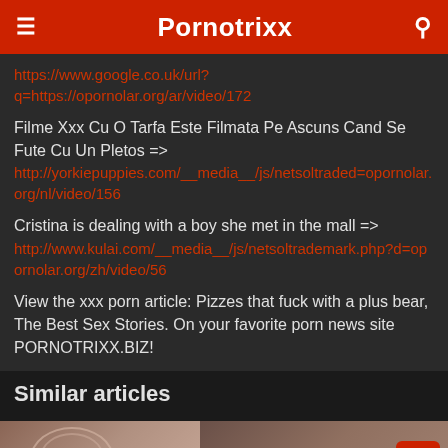Pornotrixx
https://www.google.co.uk/url?q=https://opornolar.org/ar/video/172
Filme Xxx Cu O Tarfa Este Filmata Pe Ascuns Cand Se Fute Cu Un Pletos =>
http://yorkiepuppies.com/__media__/js/netsoltrademark.php?d=opornolar.org/nl/video/156
Cristina is dealing with a boy she met in the mall =>
http://www.kulai.com/__media__/js/netsoltrademark.php?d=opornolar.org/zh/video/56
View the xxx porn article: Pizzes that fuck with a plus bear, The Best Sex Stories. On your favorite porn news site PORNOTRIXX.BIZ!
Similar articles
[Figure (photo): Thumbnail image for a similar article]